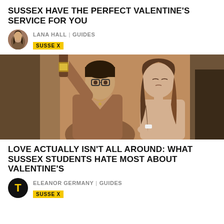SUSSEX HAVE THE PERFECT VALENTINE'S SERVICE FOR YOU
LANA HALL | GUIDES
SUSSEX
[Figure (photo): A young man holding up a beer bottle and a young woman sitting beside him, both looking unimpressed or bored, against a warm tan/brown background.]
LOVE ACTUALLY ISN'T ALL AROUND: WHAT SUSSEX STUDENTS HATE MOST ABOUT VALENTINE'S
ELEANOR GERMANY | GUIDES
SUSSEX